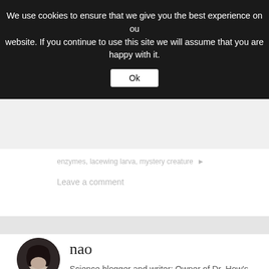We use cookies to ensure that we give you the best experience on our website. If you continue to use this site we will assume that you are happy with it.
Ok
enzymes, lacewing larva, mystery creature ▶
Leave a comment
[Figure (photo): Circular avatar photo of a woman with dark hair, used as author profile picture]
nao
Science blogger and writer; Owner of Dr. How's Science Wows; Mother of three junior scientists who have taught me that to be a great scientist you need to look at life through the eyes of a child!